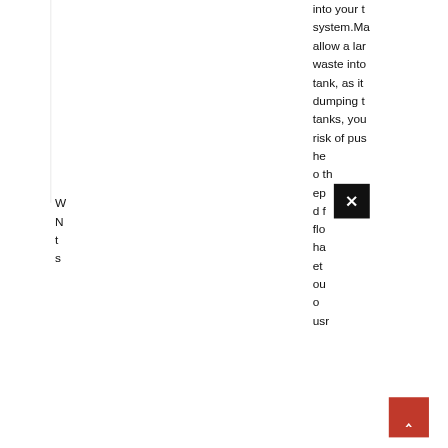into your system.Ma allow a lar waste into tank, as it dumping t tanks, you risk of pus he o th ep d f flo ha et ou o usr
W N t s
[Figure (screenshot): Black close button with white X, and red scroll-to-top button with white chevron arrow]